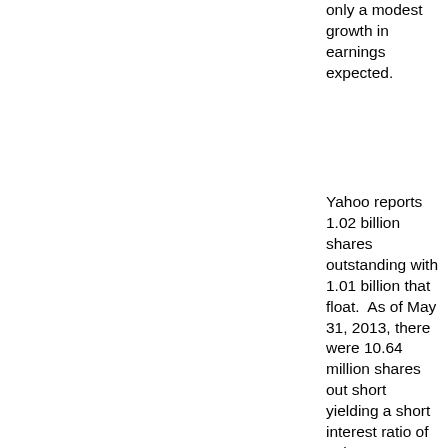only a modest growth in earnings expected.
Yahoo reports 1.02 billion shares outstanding with 1.01 billion that float.  As of May 31, 2013, there were 10.64 million shares out short yielding a short interest ratio of only 2.0.